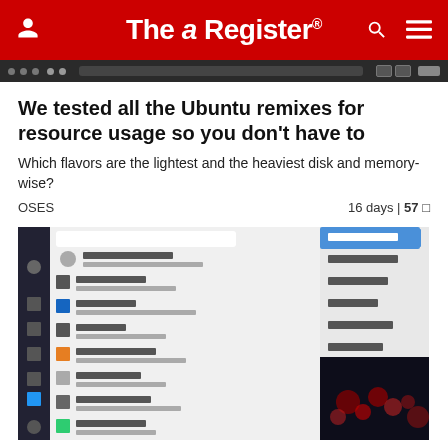The Register
[Figure (screenshot): Browser navigation bar, dark background]
We tested all the Ubuntu remixes for resource usage so you don't have to
Which flavors are the lightest and the heaviest disk and memory-wise?
OSES   16 days | 57 comments
[Figure (screenshot): Ubuntu Mint Linux desktop screenshot showing application menu with items like Run Program, Lucky Tappa, LibreOffice, git Tools, git Package Installer, git User Manual, Task Manager, Xfce Terminal, Quick System Info and other UI elements]